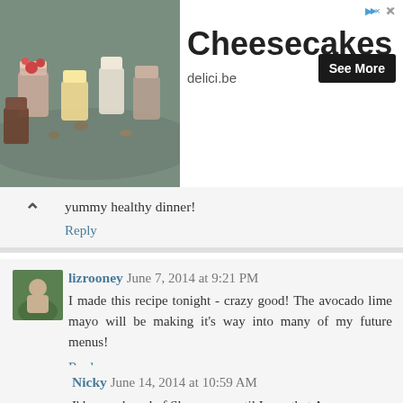[Figure (screenshot): Advertisement banner for Cheesecakes from delici.be with a food photo on the left, bold title 'Cheesecakes', domain 'delici.be', and a 'See More' button.]
yummy healthy dinner!
Reply
lizrooney June 7, 2014 at 9:21 PM
I made this recipe tonight - crazy good! The avocado lime mayo will be making it's way into many of my future menus!
Reply
Nicky June 14, 2014 at 10:59 AM
I'd never heard of Shawarma until I saw that Avengers